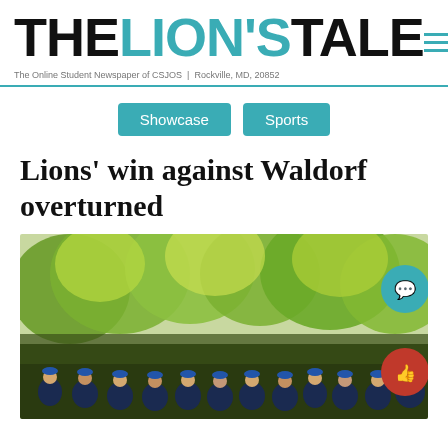THE LION'S TALE
The Online Student Newspaper of CSJOS | Rockville, MD, 20852
Showcase
Sports
Lions' win against Waldorf overturned
[Figure (photo): Group photo of a sports team wearing blue caps and blue uniforms standing in front of trees outdoors]